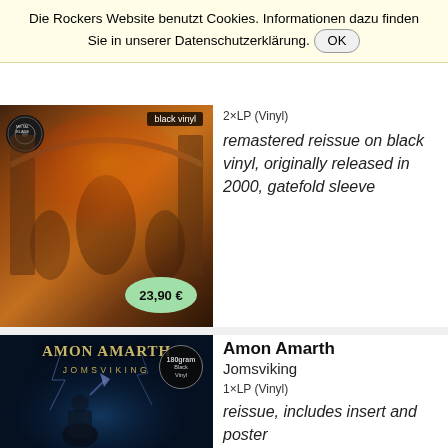Die Rockers Website benutzt Cookies. Informationen dazu finden Sie in unserer Datenschutzerklärung. OK
2×LP (Vinyl)
remastered reissue on black vinyl, originally released in 2000, gatefold sleeve
[Figure (photo): Heavy metal album cover art with dark fantasy imagery, battle scenes, flames and figures. Price badge showing 23,90 €. Black vinyl badge in top right corner.]
Amon Amarth
Jomsviking
1×LP (Vinyl)
reissue, includes insert and poster
[Figure (photo): Amon Amarth Jomsviking album cover showing the band name in runic-style lettering on dark blue/stormy background with a warrior figure, and a 180gram Black Vinyl badge.]